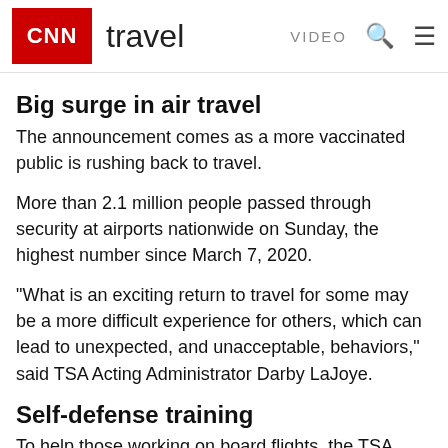CNN travel VIDEO
Big surge in air travel
The announcement comes as a more vaccinated public is rushing back to travel.
More than 2.1 million people passed through security at airports nationwide on Sunday, the highest number since March 7, 2020.
"What is an exciting return to travel for some may be a more difficult experience for others, which can lead to unexpected, and unacceptable, behaviors," said TSA Acting Administrator Darby LaJoye.
Self-defense training
To help those working on board flights, the TSA says it is restarting voluntary flight attendant self-defense training in early July.
The program had been suspended during the pandemic,